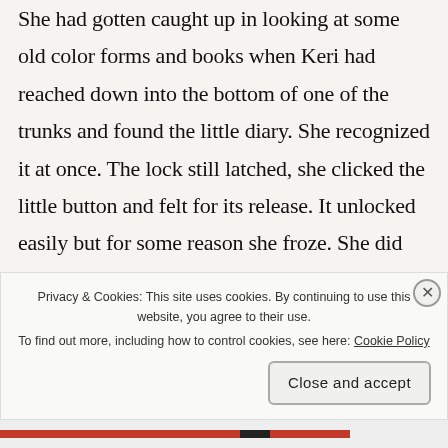She had gotten caught up in looking at some old color forms and books when Keri had reached down into the bottom of one of the trunks and found the little diary. She recognized it at once. The lock still latched, she clicked the little button and felt for its release. It unlocked easily but for some reason she froze. She did not immediately open it. Keri stood up and frowned as she looked out the large picture window at the top of the trees swaying in the storm. The rain had started the night before and remained steady. She could see the little brook below and say that it h... t...
Privacy & Cookies: This site uses cookies. By continuing to use this website, you agree to their use.
To find out more, including how to control cookies, see here: Cookie Policy
Close and accept